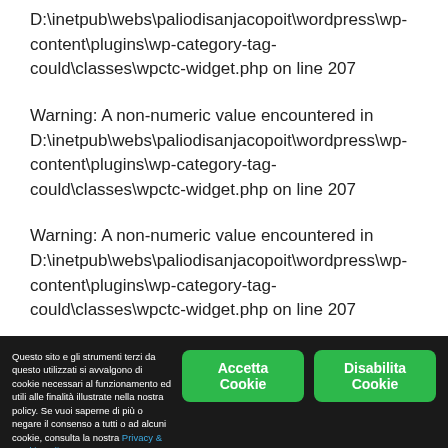D:\inetpub\webs\paliodisanjacopoit\wordpress\wp-content\plugins\wp-category-tag-could\classes\wpctc-widget.php on line 207
Warning: A non-numeric value encountered in D:\inetpub\webs\paliodisanjacopoit\wordpress\wp-content\plugins\wp-category-tag-could\classes\wpctc-widget.php on line 207
Warning: A non-numeric value encountered in D:\inetpub\webs\paliodisanjacopoit\wordpress\wp-content\plugins\wp-category-tag-could\classes\wpctc-widget.php on line 207
Warning: A non-numeric value encountered in D:\inetpub\webs\paliodisanjacopoit\wordpress\wp-content\plugins\wp-category-tag-could\classes\wpctc-widget.php on line 207
Questo sito e gli strumenti terzi da questo utilizzati si avvalgono di cookie necessari al funzionamento ed utili alle finalità illustrate nella nostra policy. Se vuoi saperne di più o negare il consenso a tutti o ad alcuni cookie, consulta la nostra Privacy & Cookie policy.